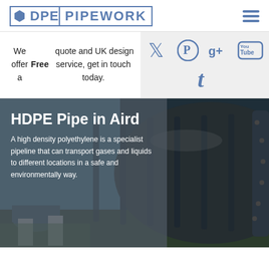HDPE PIPEWORK
We offer a Free quote and UK design service, get in touch today.
[Figure (infographic): Social media icons: Twitter, Pinterest, Google+, YouTube, Tumblr in blue on grey background]
[Figure (photo): Large HDPE pipes on supports in a landscape setting, with a semi-transparent grey overlay containing text]
HDPE Pipe in Aird
A high density polyethylene is a specialist pipeline that can transport gases and liquids to different locations in a safe and environmentally way.